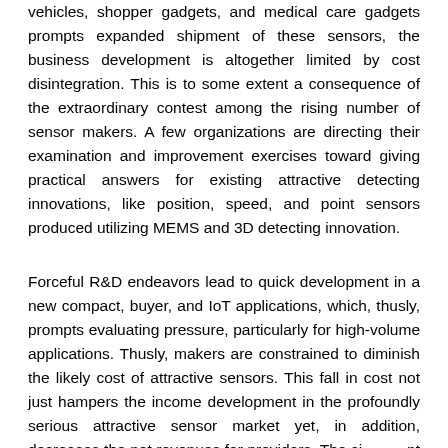vehicles, shopper gadgets, and medical care gadgets prompts expanded shipment of these sensors, the business development is altogether limited by cost disintegration. This is to some extent a consequence of the extraordinary contest among the rising number of sensor makers. A few organizations are directing their examination and improvement exercises toward giving practical answers for existing attractive detecting innovations, like position, speed, and point sensors produced utilizing MEMS and 3D detecting innovation.
Forceful R&D endeavors lead to quick development in a new compact, buyer, and IoT applications, which, thusly, prompts evaluating pressure, particularly for high-volume applications. Thusly, makers are constrained to diminish the likely cost of attractive sensors. This fall in cost not just hampers the income development in the profoundly serious attractive sensor market yet, in addition, decreases the net revenues for providers. The significant difficulties for the organizations working in this market are to conquer these problems, attain a tremendous quota